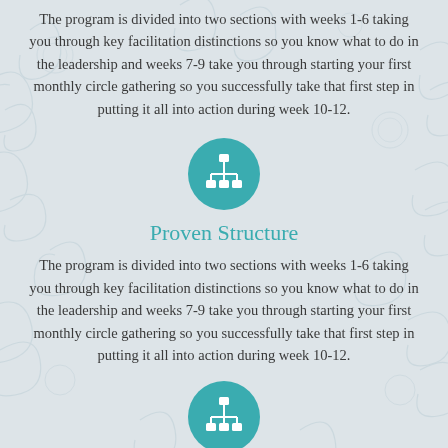The program is divided into two sections with weeks 1-6 taking you through key facilitation distinctions so you know what to do in the leadership and weeks 7-9 take you through starting your first monthly circle gathering so you successfully take that first step in putting it all into action during week 10-12.
[Figure (illustration): Teal circle icon with a network/hierarchy diagram (organizational chart symbol) in white]
Proven Structure
The program is divided into two sections with weeks 1-6 taking you through key facilitation distinctions so you know what to do in the leadership and weeks 7-9 take you through starting your first monthly circle gathering so you successfully take that first step in putting it all into action during week 10-12.
[Figure (illustration): Teal circle icon partially visible at bottom, same network/hierarchy diagram symbol]